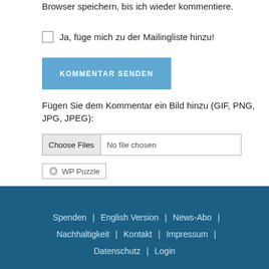Browser speichern, bis ich wieder kommentiere.
Ja, füge mich zu der Mailingliste hinzu!
KOMMENTAR SENDEN
Fügen Sie dem Kommentar ein Bild hinzu (GIF, PNG, JPG, JPEG):
Choose Files  No file chosen
WP Puzzle
Spenden | English Version | News-Abo | Nachhaltigkeit | Kontakt | Impressum | Datenschutz | Login